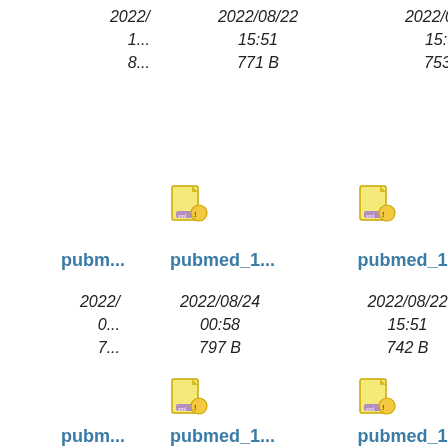2022/08/22
15:51
753 B
2022/08/22
15:51
771 B
2022/...
[Figure (illustration): File icon for pubmed_1... XML/data file]
[Figure (illustration): File icon for pubmed_1... XML/data file]
pubmed_1...
pubmed_1...
pubm...
2022/08/22
15:51
742 B
2022/08/24
00:58
797 B
2022/...
0...
7...
[Figure (illustration): File icon for pubmed_1... XML/data file]
[Figure (illustration): File icon for pubmed_1... XML/data file]
pubmed_1...
pubmed_1...
pubm...